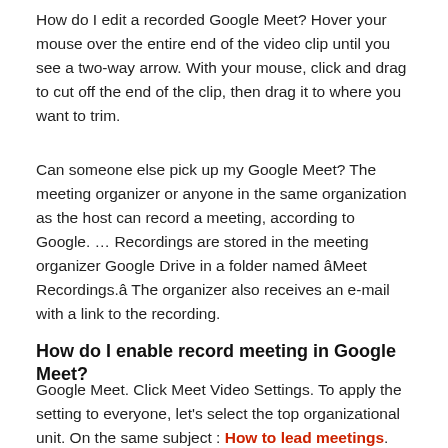How do I edit a recorded Google Meet? Hover your mouse over the entire end of the video clip until you see a two-way arrow. With your mouse, click and drag to cut off the end of the clip, then drag it to where you want to trim.
Can someone else pick up my Google Meet? The meeting organizer or anyone in the same organization as the host can record a meeting, according to Google. … Recordings are stored in the meeting organizer Google Drive in a folder named âMeet Recordings.â The organizer also receives an e-mail with a link to the recording.
How do I enable record meeting in Google Meet?
Google Meet. Click Meet Video Settings. To apply the setting to everyone, let's select the top organizational unit. On the same subject : How to lead meetings. Otherwise, select a child